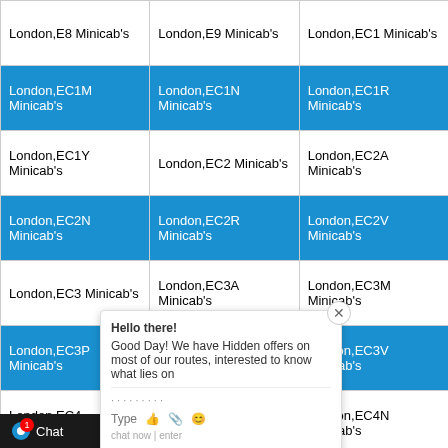| London,E8 Minicab's | London,E9 Minicab's | London,EC1 Minicab's |
| London,EC1M Minicab's | London,EC1N Minicab's | London,EC1R Minicab's |
| London,EC1Y Minicab's | London,EC2 Minicab's | London,EC2A Minicab's |
| London,EC2N Minicab's | London,EC2R Minicab's | London,EC2V Minicab's |
| London,EC3 Minicab's | London,EC3A Minicab's | London,EC3M Minicab's |
| London,EC3P Minicab's | London,EC3R Minicab's | London,EC3V Minicab's |
| London,EC4 Minicab's | London,EC4M Minicab's | London,EC4N Minicab's |
| London,EC4V Minicab's | London,EC4Y Minicab's | Edinburgh,EH1 Minicab's |
| Edinburgh,EH10 Minicab's | Edinburgh,EH12 Minicab's | Edinburgh,EH13 Minicab's |
| Edinburgh,EH15 Minicab's | Edinburgh,EH16 Minicab's | Edinburgh,EH17 Minicab's |